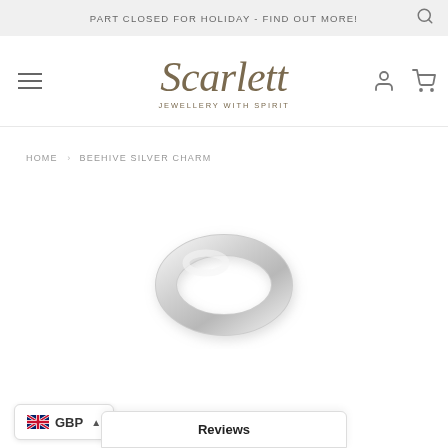PART CLOSED FOR HOLIDAY - FIND OUT MORE!
[Figure (logo): Scarlett Jewellery with Spirit logo in olive/brown serif italic font]
HOME › BEEHIVE SILVER CHARM
[Figure (photo): Silver beehive charm ring/loop shown at bottom of page]
GBP
Reviews